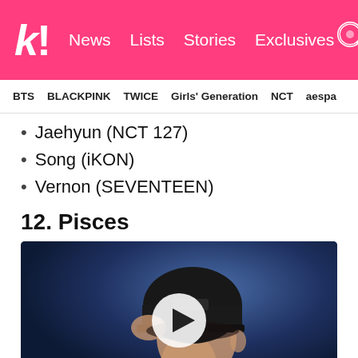k! News  Lists  Stories  Exclusives
BTS  BLACKPINK  TWICE  Girls' Generation  NCT  aespa
Jaehyun (NCT 127)
Song (iKON)
Vernon (SEVENTEEN)
12. Pisces
[Figure (photo): A K-pop idol wearing a black beanie hat, looking upward with a slight smile, photographed against a dark blue background. A white circular play button overlay is centered on the image.]